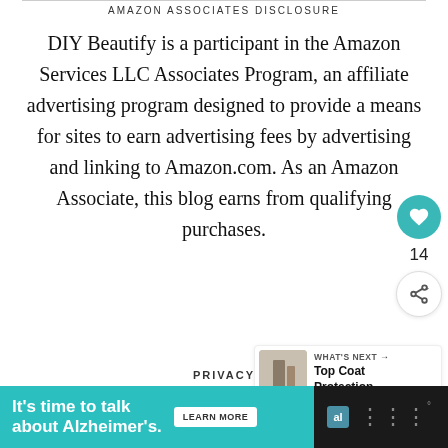AMAZON ASSOCIATES DISCLOSURE
DIY Beautify is a participant in the Amazon Services LLC Associates Program, an affiliate advertising program designed to provide a means for sites to earn advertising fees by advertising and linking to Amazon.com. As an Amazon Associate, this blog earns from qualifying purchases.
14
WHAT'S NEXT → Top Coat Protection...
PRIVACY
It's time to talk about Alzheimer's.  LEARN MORE